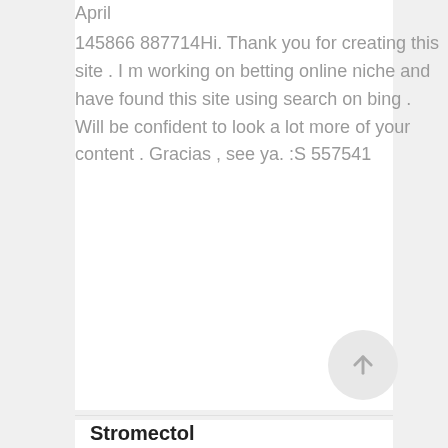April
145866 887714Hi. Thank you for creating this site . I m working on betting online niche and have found this site using search on bing . Will be confident to look a lot more of your content . Gracias , see ya. :S 557541
Stromectol